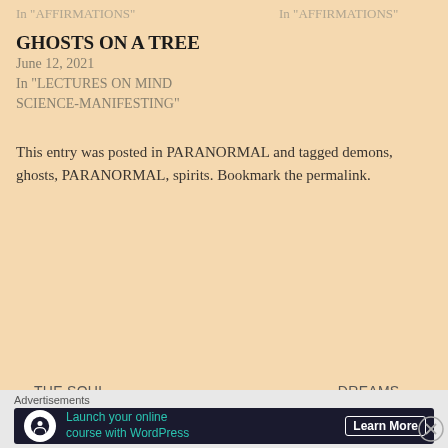In "AFFIRMATIONS"    In "AFFIRMATIONS"
GHOSTS ON A TREE
June 12, 2021
In "LECTURES ON MIND SCIENCE-MANIFESTING"
This entry was posted in PARANORMAL and tagged demons, ghosts, PARANORMAL, spirits. Bookmark the permalink.
< THE SOUL HEALER    DREAMS WHICH HELP >
Advertisements
[Figure (other): Advertisement banner: Launch your online course with WordPress - Learn More button, dark background with teal text and WordPress logo icon]